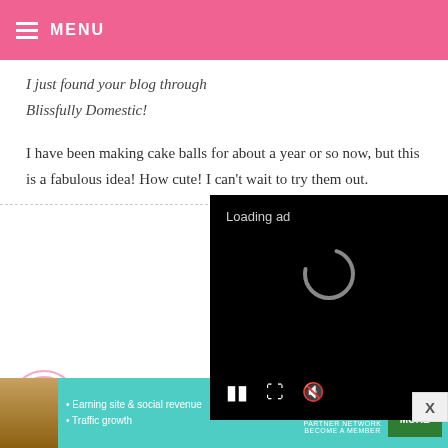MENU
I just found your blog through Blissfully Domestic!
I have been making cake balls for about a year or so now, but this is a fabulous idea! How cute! I can't wait to try them out.
CHRISTI
Oh my wo... and so cute. Definitely on my to-do list!
[Figure (screenshot): Video ad loading overlay with black background showing 'Loading ad' text, a spinner icon, and playback controls (pause, fullscreen, mute)]
[Figure (infographic): SHE Partner Network advertisement banner in teal/green color with woman photo, bullet points about earning site & social revenue and traffic growth, SHE logo, and LEARN MORE green button]